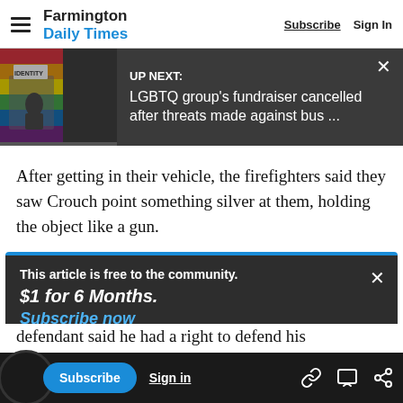Farmington Daily Times  Subscribe  Sign In
[Figure (screenshot): UP NEXT banner with photo on left showing LGBTQ themed storefront with rainbow flag, dark background with text: UP NEXT: LGBTQ group's fundraiser cancelled after threats made against bus ...]
After getting in their vehicle, the firefighters said they saw Crouch point something silver at them, holding the object like a gun.
This article is free to the community.
$1 for 6 Months.
Subscribe now
his land, the court document stated, adding he'd
defendant said he had a right to defend his